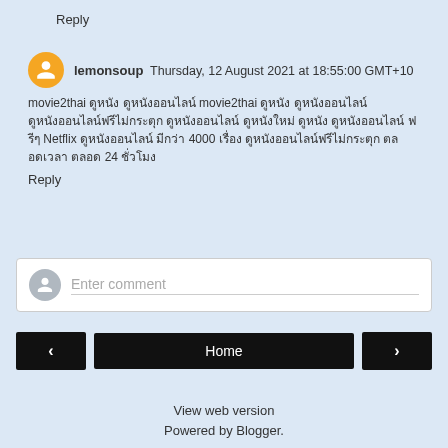Reply
lemonsoup  Thursday, 12 August 2021 at 18:55:00 GMT+10
movie2thai [Thai text] movie2thai [Thai text] Netflix [Thai text] 4000 [Thai text] [Thai text] 24 [Thai text]
Reply
Enter comment
Home
View web version
Powered by Blogger.